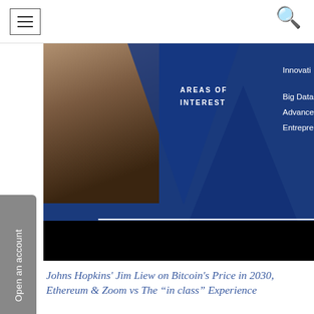Navigation bar with hamburger menu and search icon
[Figure (photo): Profile card image with a person in a dark suit on left, blue geometric background with text AREAS OF INTEREST, Innovati..., Big Data, Advance..., Entrepre..., and a white horizontal line. Bottom portion is black.]
Johns Hopkins' Jim Liew on Bitcoin's Price in 2030, Ethereum & Zoom vs The “in class” Experience
PREVIOUS ARTICLE
China Artificial Intelligence ...
NEXT ARTICLE
Future of Soft Drink Industry